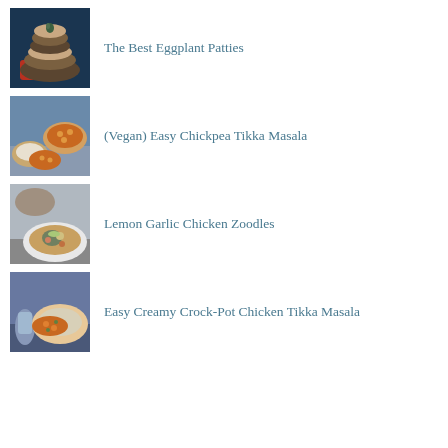[Figure (photo): Food photo thumbnail of eggplant patties stacked on a dark blue background with red sauce]
The Best Eggplant Patties
[Figure (photo): Food photo thumbnail of chickpea tikka masala curry with white rice in bowls]
(Vegan) Easy Chickpea Tikka Masala
[Figure (photo): Food photo thumbnail of lemon garlic chicken zoodles in a white plate]
Lemon Garlic Chicken Zoodles
[Figure (photo): Food photo thumbnail of creamy crock-pot chicken tikka masala with rice]
Easy Creamy Crock-Pot Chicken Tikka Masala